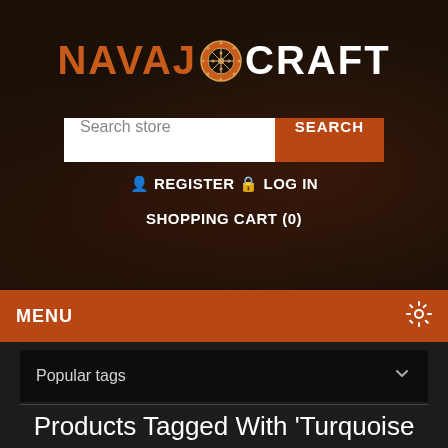NAVAJ CRAFT
Search store | SEARCH
REGISTER   LOG IN
SHOPPING CART (0)
MENU
Popular tags
Products Tagged With 'Turquoise Beads Bracelets'